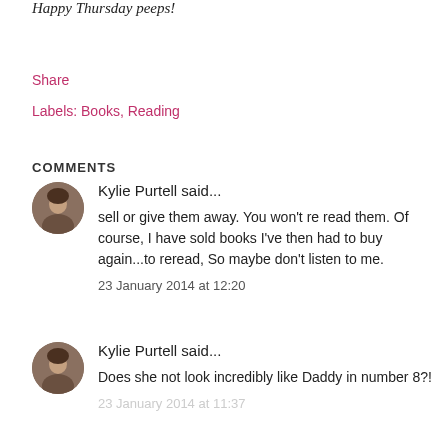Happy Thursday peeps!
Share
Labels: Books, Reading
COMMENTS
Kylie Purtell said...
sell or give them away. You won't re read them. Of course, I have sold books I've then had to buy again...to reread, So maybe don't listen to me.
23 January 2014 at 12:20
Kylie Purtell said...
Does she not look incredibly like Daddy in number 8?!
23 January 2014 at 11:37